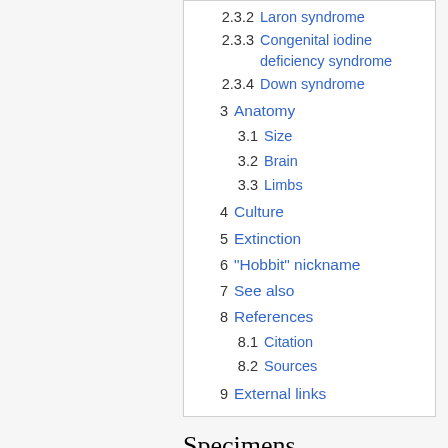2.3.2 Laron syndrome
2.3.3 Congenital iodine deficiency syndrome
2.3.4 Down syndrome
3 Anatomy
3.1 Size
3.2 Brain
3.3 Limbs
4 Culture
5 Extinction
6 "Hobbit" nickname
7 See also
8 References
8.1 Citation
8.2 Sources
9 External links
Specimens
Discovery